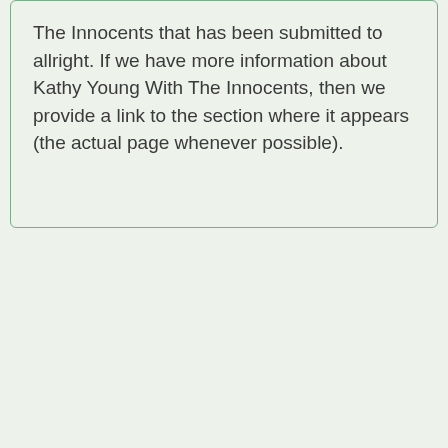The Innocents that has been submitted to allright. If we have more information about Kathy Young With The Innocents, then we provide a link to the section where it appears (the actual page whenever possible).